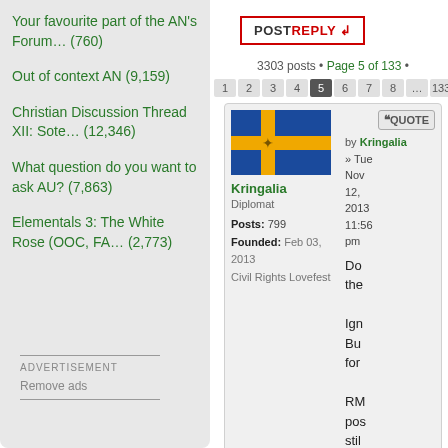Your favourite part of the AN's Forum… (760)
Out of context AN (9,159)
Christian Discussion Thread XII: Sote… (12,346)
What question do you want to ask AU? (7,863)
Elementals 3: The White Rose (OOC, FA… (2,773)
ADVERTISEMENT
Remove ads
[Figure (screenshot): POST REPLY button with red border]
3303 posts • Page 5 of 133 •
Pagination: 1 2 3 4 5 6 7 8 ... 133
[Figure (illustration): Blue flag with yellow cross and imperial eagle emblem - Kringalia flag]
Kringalia
Diplomat
Posts: 799
Founded: Feb 03, 2013
Civil Rights Lovefest
QUOTE
by Kringalia » Tue Nov 12, 2013 11:56 pm
Do the Ign Bu for RM pos stil wo l can